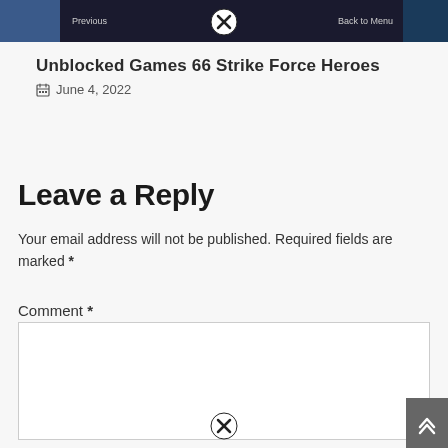[Figure (screenshot): Navigation bar with previous/back to menu buttons and thumbnail images on left and right, with a close (X) button overlay]
Unblocked Games 66 Strike Force Heroes
June 4, 2022
Leave a Reply
Your email address will not be published. Required fields are marked *
Comment *